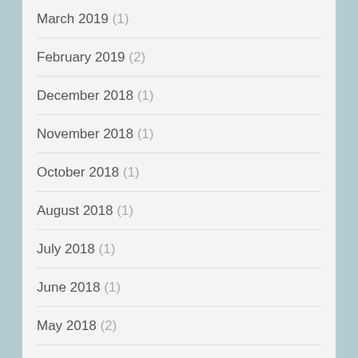March 2019 (1)
February 2019 (2)
December 2018 (1)
November 2018 (1)
October 2018 (1)
August 2018 (1)
July 2018 (1)
June 2018 (1)
May 2018 (2)
April 2018 (1)